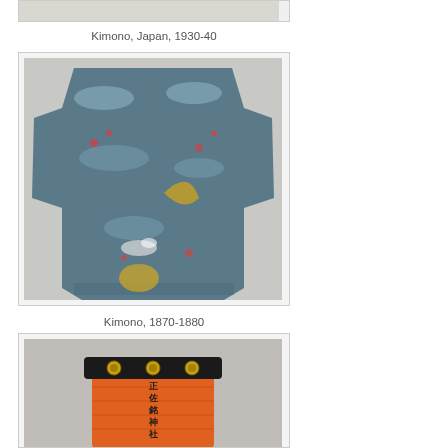[Figure (photo): Top of a Kimono image card, partially cropped at top of page]
Kimono, Japan, 1930-40
[Figure (photo): Full view of a blue-grey kimono with floral and cloud patterns, displayed flat, Japan, 1870-1880]
Kimono, 1870-1880
[Figure (photo): Orange cylindrical Japanese paper lantern with black kanji text and black decorative band at top, partially cropped]